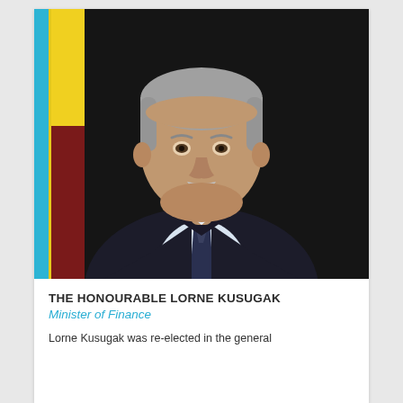[Figure (photo): Official portrait of The Honourable Lorne Kusugak, Minister of Finance. A middle-aged man with grey hair and a grey moustache, wearing a dark suit jacket, light blue dress shirt, and dark tie. A flag with yellow and dark red colours is visible in the background. A blue vertical bar is on the left edge of the photo.]
THE HONOURABLE LORNE KUSUGAK
Minister of Finance
Lorne Kusugak was re-elected in the general